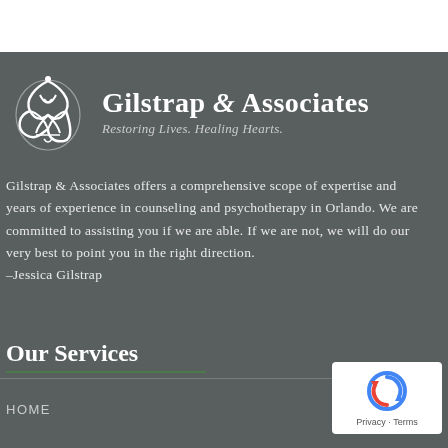[Figure (logo): Gilstrap & Associates logo with Celtic triquetra knot icon on the left and company name and tagline on the right]
Gilstrap & Associates offers a comprehensive scope of expertise and years of experience in counseling and psychotherapy in Orlando. We are committed to assisting you if we are able. If we are not, we will do our very best to point you in the right direction.
–Jessica Gilstrap
Our Services
HOME
[Figure (logo): Google reCAPTCHA badge with refresh icon and Privacy - Terms text]